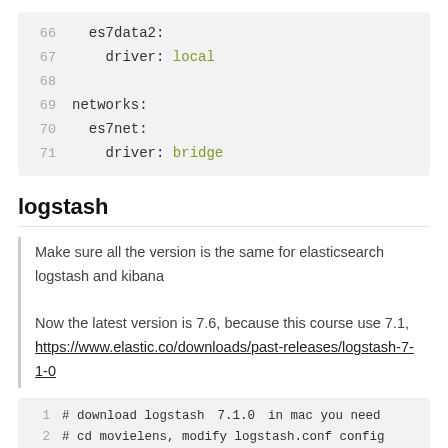[Figure (screenshot): Code block showing YAML config lines 66-71 with es7data2 volume and networks sections]
logstash
Make sure all the version is the same for elasticsearch logstash and kibana
Now the latest version is 7.6, because this course use 7.1,
https://www.elastic.co/downloads/past-releases/logstash-7-1-0
[Figure (screenshot): Code block showing lines 1-2 with shell commands: # download logstash 7.1.0 in mac you need, # cd movielens, modify logstash.conf config]